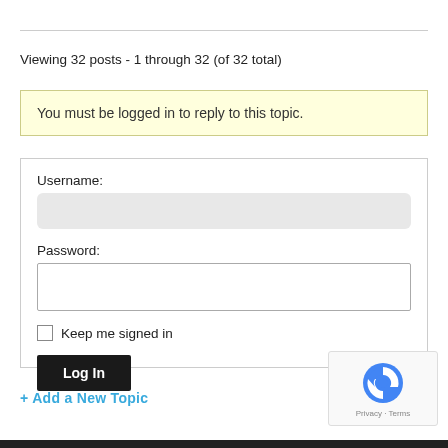Viewing 32 posts - 1 through 32 (of 32 total)
You must be logged in to reply to this topic.
Username:
Password:
Keep me signed in
Log In
+ Add a New Topic